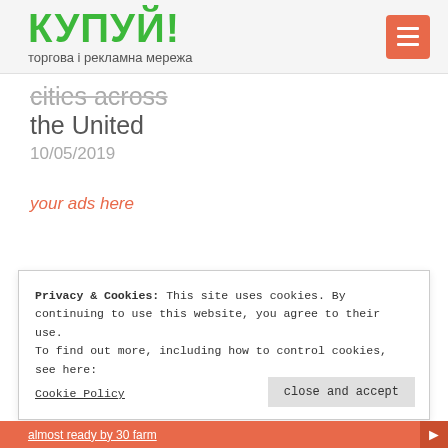КУПУЙ! торгова і рекламна мережа
cities across
the United
10/05/2019
your ads here
Privacy & Cookies: This site uses cookies. By continuing to use this website, you agree to their use.
To find out more, including how to control cookies, see here:
Cookie Policy
close and accept